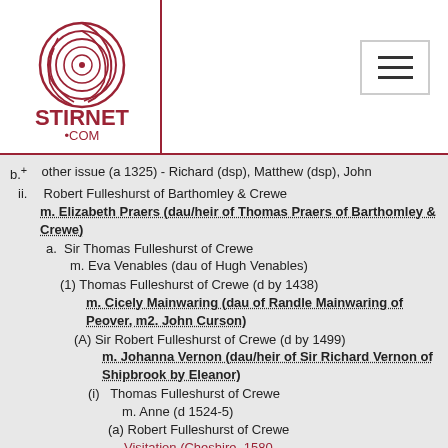STIRNET.COM
b.+ other issue (a 1325) - Richard (dsp), Matthew (dsp), John
ii. Robert Fulleshurst of Barthomley & Crewe m. Elizabeth Praers (dau/heir of Thomas Praers of Barthomley & Crewe)
a. Sir Thomas Fulleshurst of Crewe m. Eva Venables (dau of Hugh Venables)
(1) Thomas Fulleshurst of Crewe (d by 1438) m. Cicely Mainwaring (dau of Randle Mainwaring of Peover, m2. John Curson)
(A) Sir Robert Fulleshurst of Crewe (d by 1499) m. Johanna Vernon (dau/heir of Sir Richard Vernon of Shipbrook by Eleanor)
(i) Thomas Fulleshurst of Crewe m. Anne (d 1524-5)
(a) Robert Fulleshurst of Crewe Visitation (Cheshire, 1580, Foulshurst of Crewe) starts with a Sir Robert Foulshurst who m. Jane, dau of Sir Richard Vernon, parents of